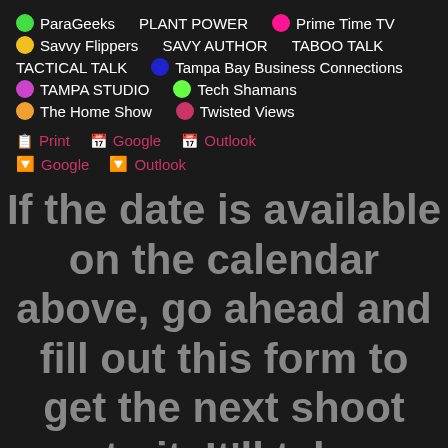ParaGeeks   PLANT POWER   Prime Time TV
Savvy Flippers   SAVY AUTHOR   TABOO TALK
TACTICAL TALK   Tampa Bay Business Connections
TAMPA STUDIO   Tech Shamans
The Home Show   Twisted Views
Print   Google   Outlook
Google   Outlook
If the date is available on the calendar above, go ahead and fill out this form to get the next shoot onto it. It'll take a